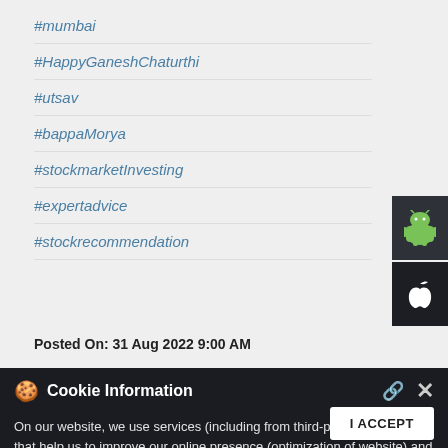#mumbai
#HappyGaneshChaturthi
#utsav
#bappaMorya
#stockmarketInvesting
#expertadvice
#stockrecommendation
Posted On: 31 Aug 2022 9:00 AM
Cookie Information
On our website, we use services (including from third-party providers) that help us to improve our online presence (optimization of website) and to display content that is geared to their interests. We need your consent before being able to use these services.